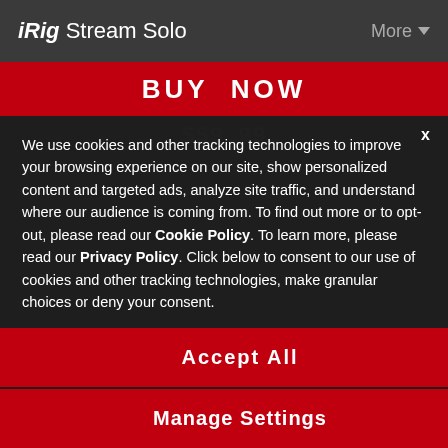iRig Stream Solo    More
BUY NOW
$59.99
Contact | Privacy | Legal
English | ... | Español | Português | Italiano | Français | ...
We use cookies and other tracking technologies to improve your browsing experience on our site, show personalized content and targeted ads, analyze site traffic, and understand where our audience is coming from. To find out more or to opt-out, please read our Cookie Policy. To learn more, please read our Privacy Policy. Click below to consent to our use of cookies and other tracking technologies, make granular choices or deny your consent.
Modena, Italy – Phone: +39 059 285496 – Fax: +39 059 2861671
– CF/PI: IT02359550361 – SDI: M5UXCR1
IK Multimedia ... te Pkwy. – Sunrise, FL 3... – Phone: (954)... – Fax: (954) 846–
Accept All
Manage Settings
SPECIAL OFFERS    Deny All    THIS MONTH